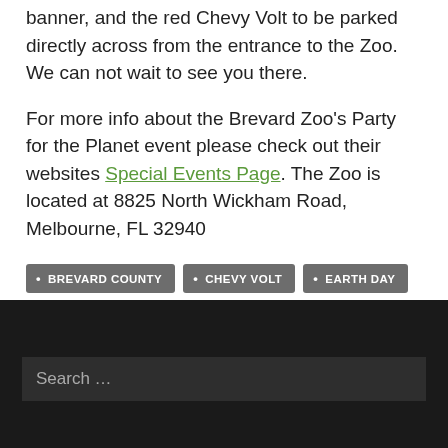banner, and the red Chevy Volt to be parked directly across from the entrance to the Zoo.  We can not wait to see you there.
For more info about the Brevard Zoo's Party for the Planet event please check out their websites Special Events Page. The Zoo is located at 8825 North Wickham Road, Melbourne, FL 32940
BREVARD COUNTY
CHEVY VOLT
EARTH DAY
ELECTRIC VEHICLES
EVS
FLORIDA
MELBOURNE
VOLT
Search ...